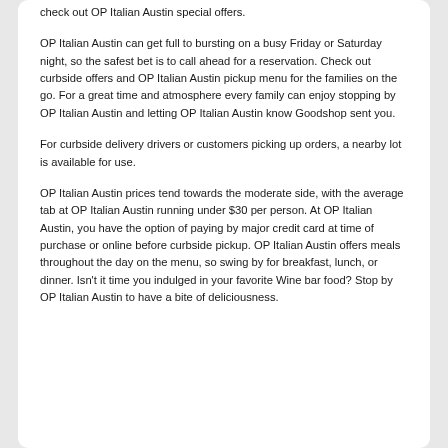check out OP Italian Austin special offers.
OP Italian Austin can get full to bursting on a busy Friday or Saturday night, so the safest bet is to call ahead for a reservation. Check out curbside offers and OP Italian Austin pickup menu for the families on the go. For a great time and atmosphere every family can enjoy stopping by OP Italian Austin and letting OP Italian Austin know Goodshop sent you.
For curbside delivery drivers or customers picking up orders, a nearby lot is available for use.
OP Italian Austin prices tend towards the moderate side, with the average tab at OP Italian Austin running under $30 per person. At OP Italian Austin, you have the option of paying by major credit card at time of purchase or online before curbside pickup. OP Italian Austin offers meals throughout the day on the menu, so swing by for breakfast, lunch, or dinner. Isn't it time you indulged in your favorite Wine bar food? Stop by OP Italian Austin to have a bite of deliciousness.